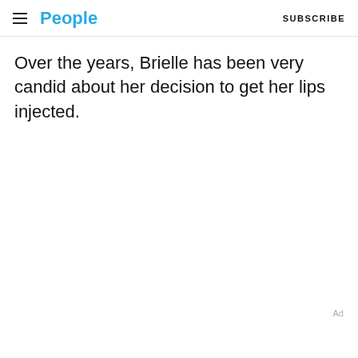People | SUBSCRIBE
Over the years, Brielle has been very candid about her decision to get her lips injected.
Ad